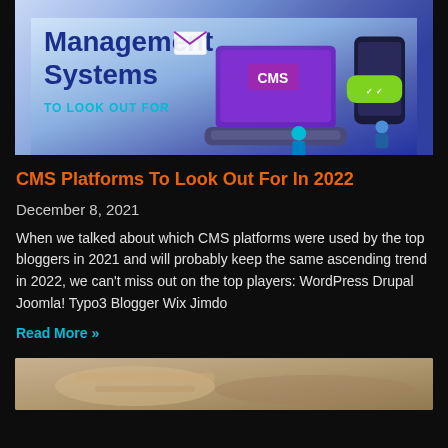[Figure (illustration): Promotional banner for CMS platforms article showing title 'Management Systems TO LOOK OUT FOR' with illustrated characters, laptop, CMS badge, and mobile device graphics on a blue/purple gradient background]
CMS Platforms To Look Out For In 2022
December 8, 2021
When we talked about which CMS platforms were used by the top bloggers in 2021 and will probably keep the same ascending trend in 2022, we can't miss out on the top players: WordPress Drupal Joomla! Typo3 Blogger Wix Jimdo
Read More »
[Figure (photo): Partial photo at bottom of page showing blurred hands/document, warm brown/tan tones]